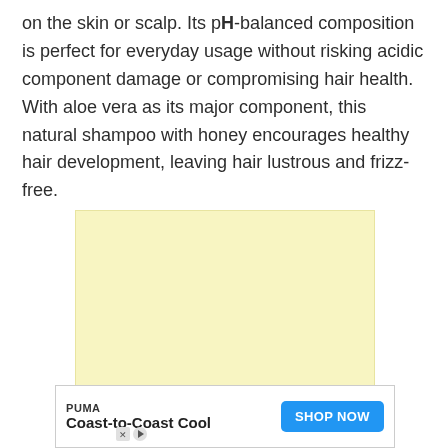on the skin or scalp. Its pH-balanced composition is perfect for everyday usage without risking acidic component damage or compromising hair health. With aloe vera as its major component, this natural shampoo with honey encourages healthy hair development, leaving hair lustrous and frizz-free.
[Figure (other): Large light yellow advertisement placeholder box]
[Figure (other): PUMA advertisement banner with 'Coast-to-Coast Cool' tagline and 'SHOP NOW' button in blue]